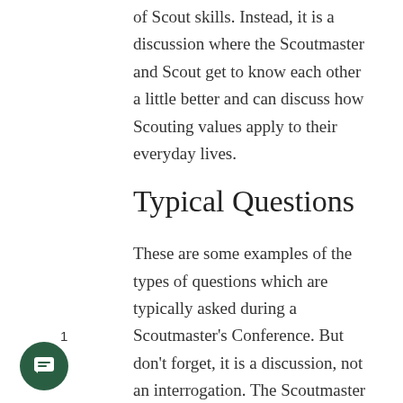of Scout skills. Instead, it is a discussion where the Scoutmaster and Scout get to know each other a little better and can discuss how Scouting values apply to their everyday lives.
Typical Questions
These are some examples of the types of questions which are typically asked during a Scoutmaster's Conference. But don't forget, it is a discussion, not an interrogation. The Scoutmaster should be sharing his or her own experiences with the Scout also.